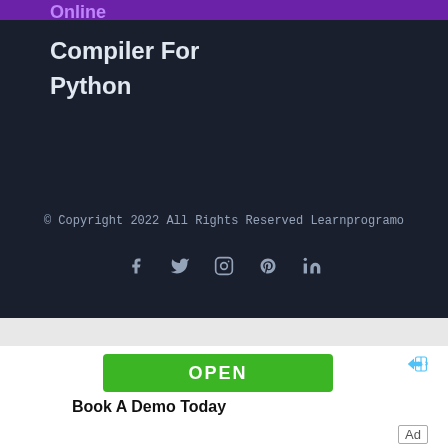Online Compiler For Python
© Copyright 2022 All Rights Reserved Learnprogramo
[Figure (infographic): Social media icons: Facebook (f), Twitter (bird), Instagram (camera), Pinterest (P), LinkedIn (in)]
[Figure (screenshot): Advertisement banner with green OPEN button and text 'Book A Demo Today']